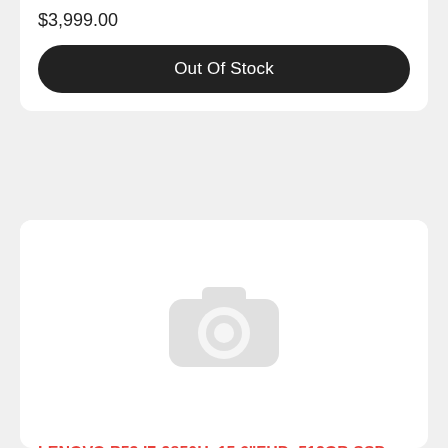$3,999.00
Out Of Stock
[Figure (photo): Placeholder product image with camera icon on white background]
LENOVO P53 I7-9850H, 15.6"FHD, 512GB SSD, 32GB, RT
$6,369.00